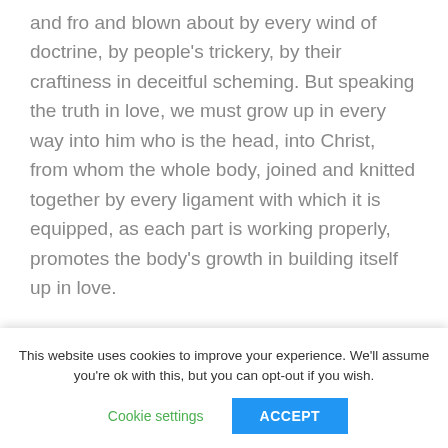and fro and blown about by every wind of doctrine, by people's trickery, by their craftiness in deceitful scheming. But speaking the truth in love, we must grow up in every way into him who is the head, into Christ,  from whom the whole body, joined and knitted together by every ligament with which it is equipped, as each part is working properly, promotes the body's growth in building itself up in love.
Basis
This website uses cookies to improve your experience. We'll assume you're ok with this, but you can opt-out if you wish.